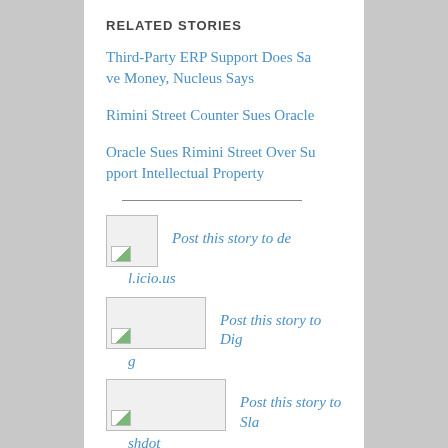RELATED STORIES
Third-Party ERP Support Does Save Money, Nucleus Says
Rimini Street Counter Sues Oracle
Oracle Sues Rimini Street Over Support Intellectual Property
[Figure (other): Image placeholder icon for del.icio.us share link]
Post this story to del.icio.us
[Figure (other): Image placeholder icon for Digg share link]
Post this story to Digg
[Figure (other): Image placeholder icon for Slashdot share link]
Post this story to Slashdot